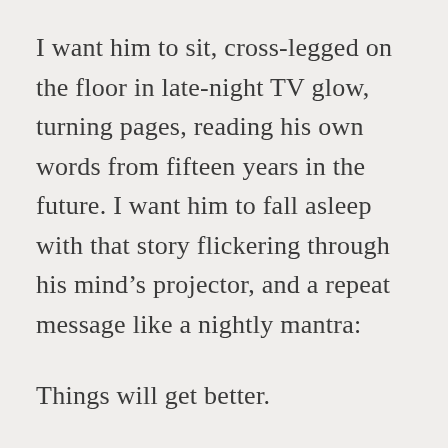I want him to sit, cross-legged on the floor in late-night TV glow, turning pages, reading his own words from fifteen years in the future. I want him to fall asleep with that story flickering through his mind's projector, and a repeat message like a nightly mantra:
Things will get better.
Things will get better.